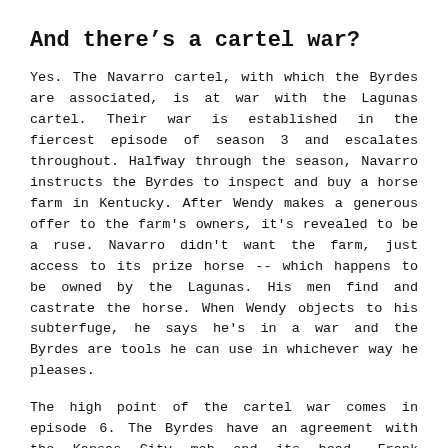And there’s a cartel war?
Yes. The Navarro cartel, with which the Byrdes are associated, is at war with the Lagunas cartel. Their war is established in the fiercest episode of season 3 and escalates throughout. Halfway through the season, Navarro instructs the Byrdes to inspect and buy a horse farm in Kentucky. After Wendy makes a generous offer to the farm's owners, it's revealed to be a ruse. Navarro didn't want the farm, just access to its prize horse -- which happens to be owned by the Lagunas. His men find and castrate the horse. When Wendy objects to his subterfuge, he says he's in a war and the Byrdes are tools he can use in whichever way he pleases.
The high point of the cartel war comes in episode 6. The Byrdes have an agreement with the Kansas City mob and its head, Frank Cosgrove, where in exchange for a cut in the casino's laundering activities, the mob